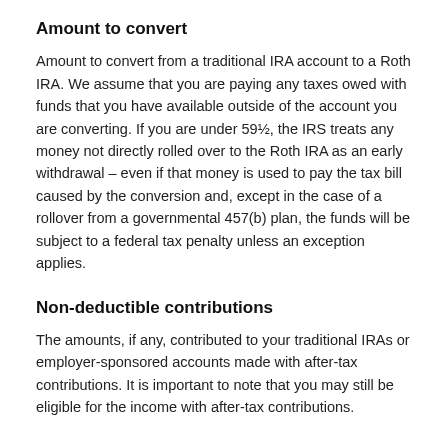Amount to convert
Amount to convert from a traditional IRA account to a Roth IRA. We assume that you are paying any taxes owed with funds that you have available outside of the account you are converting. If you are under 59½, the IRS treats any money not directly rolled over to the Roth IRA as an early withdrawal – even if that money is used to pay the tax bill caused by the conversion and, except in the case of a rollover from a governmental 457(b) plan, the funds will be subject to a federal tax penalty unless an exception applies.
Non-deductible contributions
The amounts, if any, contributed to your traditional IRAs or employer-sponsored accounts made with after-tax contributions. It is important to note that you may still be eligible for the income with after-tax contributions.